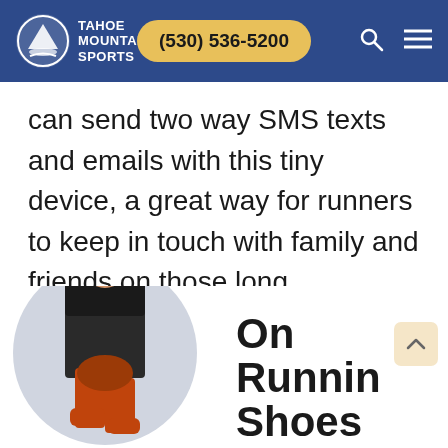Tahoe Mountain Sports | (530) 536-5200
can send two way SMS texts and emails with this tiny device, a great way for runners to keep in touch with family and friends on those long adventure runs.
Buy Now
[Figure (photo): Runner in black shorts and red shoes, shown from the waist down inside a circular cropped photo]
On Running Shoes